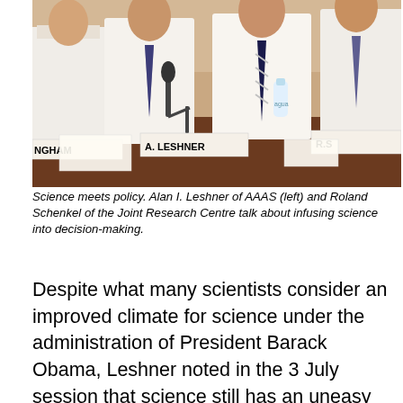[Figure (photo): Photo of people seated at a conference table. Name placards visible: INGHAM (partial), A. LESHNER, R.S (partial). People in white shirts and ties, microphone visible, water bottle on table.]
Science meets policy. Alan I. Leshner of AAAS (left) and Roland Schenkel of the Joint Research Centre talk about infusing science into decision-making.
Despite what many scientists consider an improved climate for science under the administration of President Barack Obama, Leshner noted in the 3 July session that science still has an uneasy relationship with the larger society, partly of its own making. Stories about scientific misconduct and conflicts of interest in biomedical research erode public confidence in science, he said.
But there are other tensions over which science has less control, including conflicts involving core values or beliefs on topics such as teaching of evolution in the